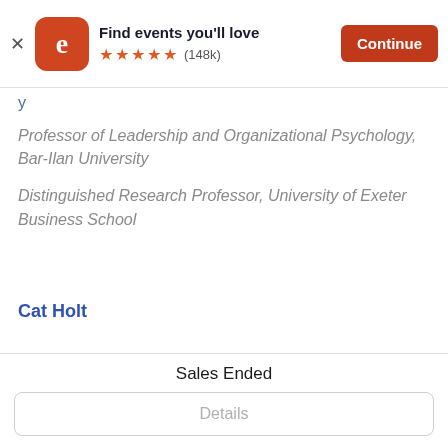[Figure (screenshot): Eventbrite app download banner with logo, 'Find events you'll love' text, 5 star rating (148k reviews), and orange Continue button]
Professor of Leadership and Organizational Psychology, Bar-Ilan University
Distinguished Research Professor, University of Exeter Business School
Cat Holt
Sales Ended
Details